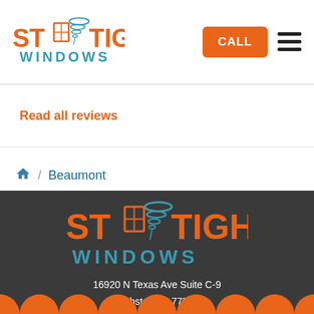[Figure (logo): Storm Tight Windows logo in header — orange text with teal tornado and window icon]
CALL
Read all reviews
🏠 / Beaumont
[Figure (logo): Storm Tight Windows large logo on dark footer background — orange and teal]
16920 N Texas Ave Suite C-9
Webster, TX 77598
(281) 426-0084